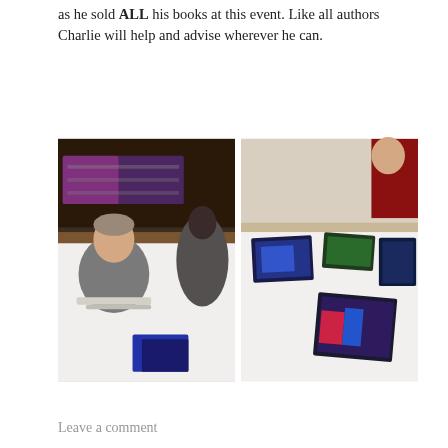as he sold ALL his books at this event. Like all authors Charlie will help and advise wherever he can.
[Figure (photo): Author signing books at a table with a bar visible in the background; a woman stands nearby.]
[Figure (photo): Books displayed on a white tablecloth table at an event; a person in red clothing visible in the background.]
Leave a comment